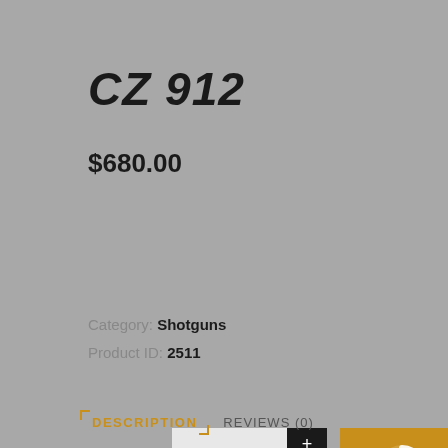CZ 912
$680.00
[Figure (screenshot): Product quantity selector with +/- buttons and an 'ADD TO CART' button in golden/amber color, with a loading spinner overlay visible]
Category: Shotguns
Product ID: 2511
DESCRIPTION   REVIEWS (0)